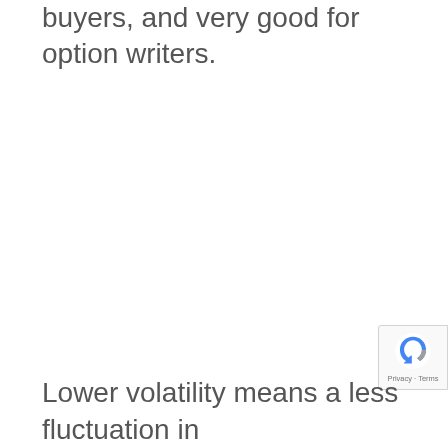buyers, and very good for option writers.
Lower volatility means a less fluctuation in